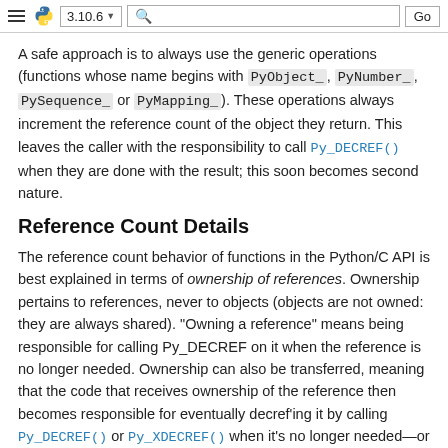Python 3.10.6 documentation navigation bar
A safe approach is to always use the generic operations (functions whose name begins with PyObject_, PyNumber_, PySequence_ or PyMapping_). These operations always increment the reference count of the object they return. This leaves the caller with the responsibility to call Py_DECREF() when they are done with the result; this soon becomes second nature.
Reference Count Details
The reference count behavior of functions in the Python/C API is best explained in terms of ownership of references. Ownership pertains to references, never to objects (objects are not owned: they are always shared). "Owning a reference" means being responsible for calling Py_DECREF on it when the reference is no longer needed. Ownership can also be transferred, meaning that the code that receives ownership of the reference then becomes responsible for eventually decref'ing it by calling Py_DECREF() or Py_XDECREF() when it's no longer needed—or passing on this responsibility (usually to its caller). When a function passes ownership of a reference on to its caller, the caller is said to